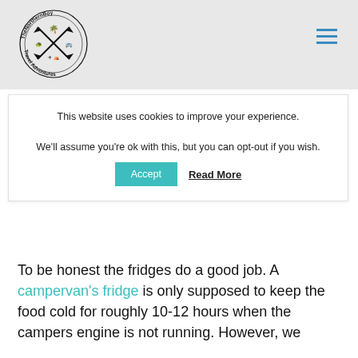[Figure (logo): TheNorthernBoy Travel Adventures circular logo with crossed arrows and travel icons]
This website uses cookies to improve your experience.

We'll assume you're ok with this, but you can opt-out if you wish.
To be honest the fridges do a good job. A campervan's fridge is only supposed to keep the food cold for roughly 10-12 hours when the campers engine is not running. However, we